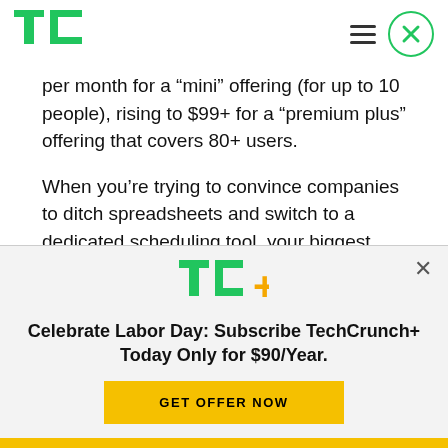TechCrunch header with logo, hamburger menu, and close button
per month for a “mini” offering (for up to 10 people), rising to $99+ for a “premium plus” offering that covers 80+ users.
When you’re trying to convince companies to ditch spreadsheets and switch to a dedicated scheduling tool, your biggest differentiator is undoubtedly the
[Figure (other): TechCrunch+ promotional banner overlay with TC+ logo, Labor Day subscription offer at $90/year, GET OFFER NOW button, and gold bottom bar]
Celebrate Labor Day: Subscribe TechCrunch+ Today Only for $90/Year.
GET OFFER NOW